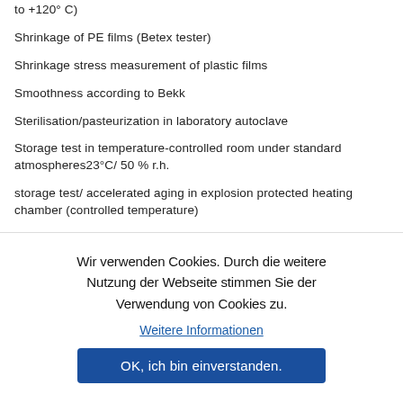to +120° C)
Shrinkage of PE films (Betex tester)
Shrinkage stress measurement of plastic films
Smoothness according to Bekk
Sterilisation/pasteurization in laboratory autoclave
Storage test in temperature-controlled room under standard atmospheres23°C/ 50 % r.h.
storage test/ accelerated aging in explosion protected heating chamber (controlled temperature)
Storage test/accelerated ageing in climate chamber
Wir verwenden Cookies. Durch die weitere Nutzung der Webseite stimmen Sie der Verwendung von Cookies zu.
Weitere Informationen
OK, ich bin einverstanden.